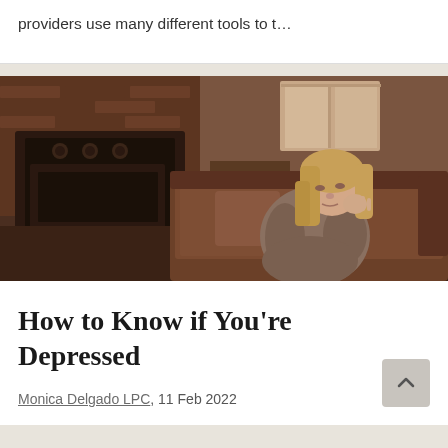providers use many different tools to t…
[Figure (photo): A middle-aged woman with long blonde hair sitting on the floor leaning against a brown couch, hugging her knees, looking downward in a depressed or sad pose, in a dimly lit room with a brick fireplace in the background.]
How to Know if You're Depressed
Monica Delgado LPC, 11 Feb 2022